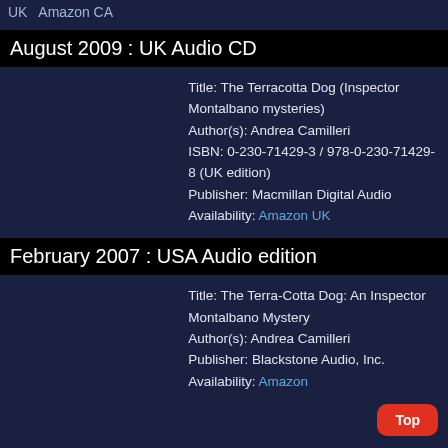UK  Amazon CA
August 2009 : UK Audio CD
Title: The Terracotta Dog (Inspector Montalbano mysteries)
Author(s): Andrea Camilleri
ISBN: 0-230-71429-3 / 978-0-230-71429-8 (UK edition)
Publisher: Macmillan Digital Audio
Availability: Amazon UK
February 2007 : USA Audio edition
Title: The Terra-Cotta Dog: An Inspector Montalbano Mystery
Author(s): Andrea Camilleri
Publisher: Blackstone Audio, Inc.
Availability: Amazon